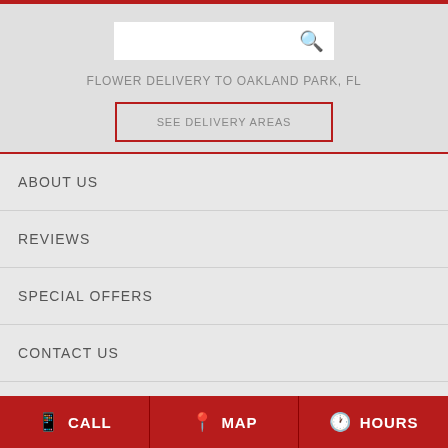[Figure (screenshot): Search bar with magnifying glass icon on grey background]
FLOWER DELIVERY TO OAKLAND PARK, FL
SEE DELIVERY AREAS
ABOUT US
REVIEWS
SPECIAL OFFERS
CONTACT US
SITE MAP
CALL  MAP  HOURS